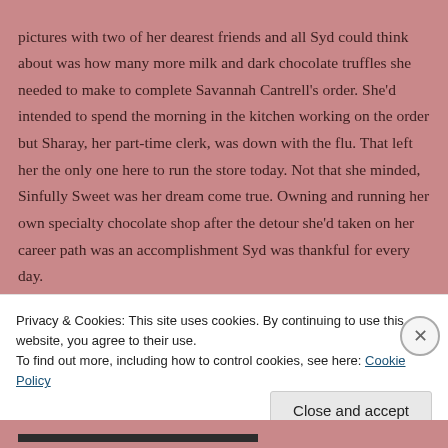pictures with two of her dearest friends and all Syd could think about was how many more milk and dark chocolate truffles she needed to make to complete Savannah Cantrell's order. She'd intended to spend the morning in the kitchen working on the order but Sharay, her part-time clerk, was down with the flu. That left her the only one here to run the store today. Not that she minded, Sinfully Sweet was her dream come true. Owning and running her own specialty chocolate shop after the detour she'd taken on her career path was an accomplishment Syd was thankful for every day.
Privacy & Cookies: This site uses cookies. By continuing to use this website, you agree to their use.
To find out more, including how to control cookies, see here: Cookie Policy